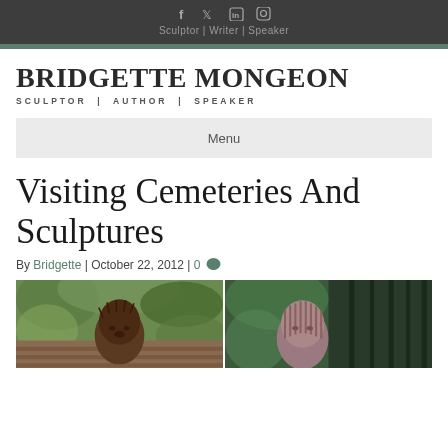Sculptor | Writer | Speaker
BRIDGETTE MONGEON
SCULPTOR | AUTHOR | SPEAKER
Menu
Visiting Cemeteries And Sculptures
By Bridgette | October 22, 2012 | 0
[Figure (photo): Two bronze/metal sculpture heads photographed outdoors in a garden or cemetery setting with green foliage in the background. Left image shows a dark bronze head of a child, right image shows a lighter colored sculptured head with vertical texture lines.]